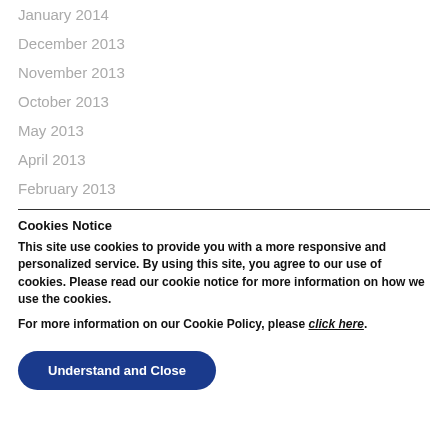January 2014
December 2013
November 2013
October 2013
May 2013
April 2013
February 2013
Cookies Notice
This site use cookies to provide you with a more responsive and personalized service. By using this site, you agree to our use of cookies. Please read our cookie notice for more information on how we use the cookies.
For more information on our Cookie Policy, please click here.
Understand and Close